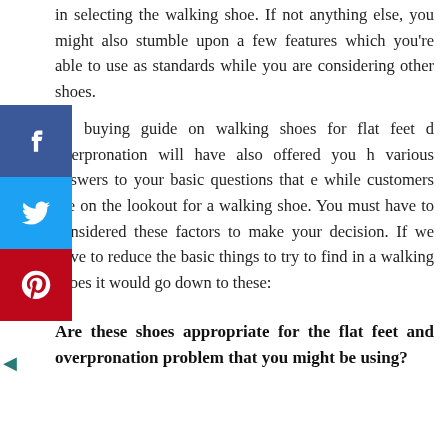in selecting the walking shoe. If not anything else, you might also stumble upon a few features which you're able to use as standards while you are considering other shoes.
e buying guide on walking shoes for flat feet d overpronation will have also offered you h various answers to your basic questions that e while customers are on the lookout for a walking shoe. You must have to considered these factors to make your decision. If we have to reduce the basic things to try to find in a walking shoes it would go down to these:
Are these shoes appropriate for the flat feet and overpronation problem that you might be using?